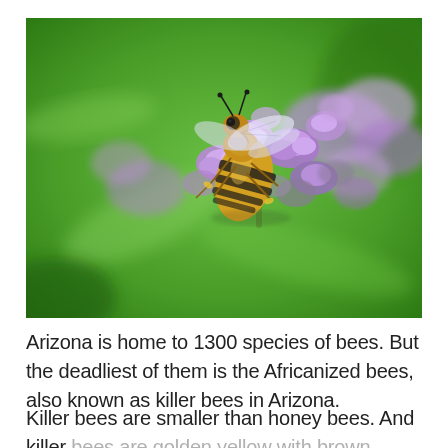[Figure (photo): Close-up photograph of a honeybee on purple lavender flowers against a blurred green background]
Arizona is home to 1300 species of bees. But the deadliest of them is the Africanized bees, also known as killer bees in Arizona.
Killer bees are smaller than honey bees. And killer bees are golden yellow with brown straps running across their abdomen.